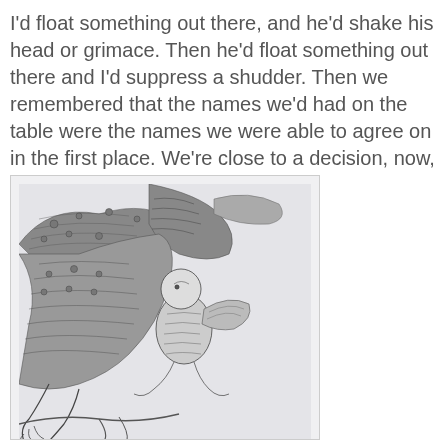I'd float something out there, and he'd shake his head or grimace. Then he'd float something out there and I'd suppress a shudder. Then we remembered that the names we'd had on the table were the names we were able to agree on in the first place. We're close to a decision, now, and we're feeling good.
[Figure (illustration): Black and white detailed illustration of a small bird-like creature perched on a large decorative bird or dragon, rendered in intricate crosshatching style]